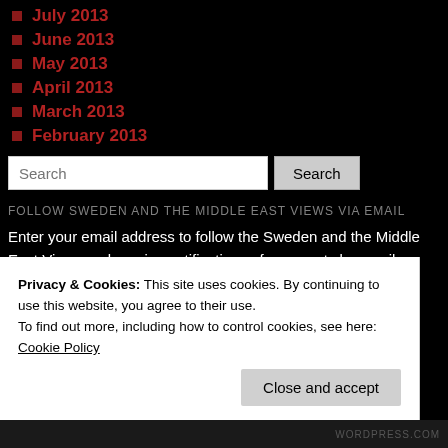July 2013
June 2013
May 2013
April 2013
March 2013
February 2013
Search
FOLLOW SWEDEN AND THE MIDDLE EAST VIEWS VIA EMAIL
Enter your email address to follow the Sweden and the Middle East Views and receive notifications of new posts by email.
Email Address
Follow
Privacy & Cookies: This site uses cookies. By continuing to use this website, you agree to their use.
To find out more, including how to control cookies, see here: Cookie Policy
Close and accept